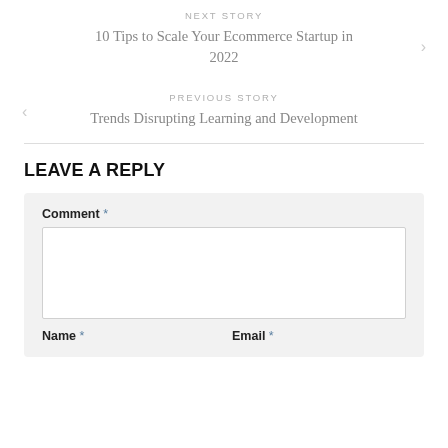NEXT STORY
10 Tips to Scale Your Ecommerce Startup in 2022
PREVIOUS STORY
Trends Disrupting Learning and Development
LEAVE A REPLY
Comment *
Name *
Email *